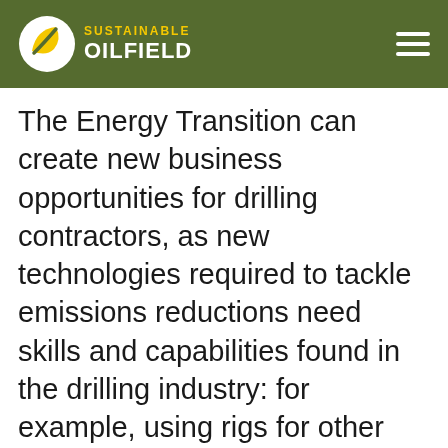SUSTAINABLE OILFIELD
The Energy Transition can create new business opportunities for drilling contractors, as new technologies required to tackle emissions reductions need skills and capabilities found in the drilling industry: for example, using rigs for other purposes such as Carbon Capture and Storage (CCUS), and Geothermal energy.
Stena is investing in DCarbon X, which will use drilling units to